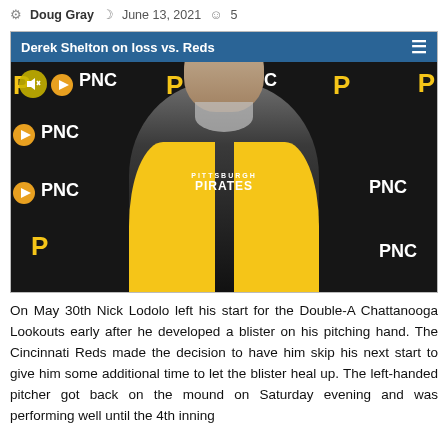Doug Gray  June 13, 2021  5
[Figure (screenshot): Video thumbnail of Derek Shelton (Pittsburgh Pirates manager) giving a post-game press conference at a PNC-branded backdrop. Video player bar at top reads 'Derek Shelton on loss vs. Reds'. Mute button visible top-left of video.]
On May 30th Nick Lodolo left his start for the Double-A Chattanooga Lookouts early after he developed a blister on his pitching hand. The Cincinnati Reds made the decision to have him skip his next start to give him some additional time to let the blister heal up. The left-handed pitcher got back on the mound on Saturday evening and was performing well until the 4th inning